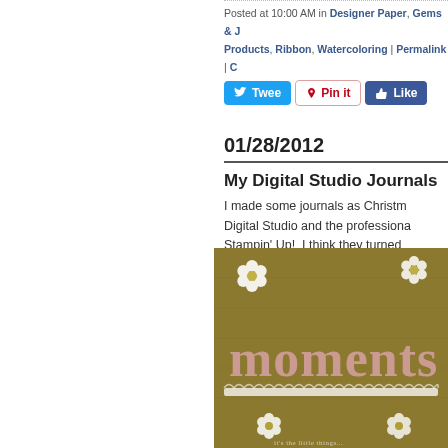Posted at 10:00 AM in Designer Paper, Gems & J..., Products, Ribbon, Watercoloring | Permalink | C...
Tweet | Pin it | Like
01/28/2012
My Digital Studio Journals
I made some journals as Christm... Digital Studio and the professiona... Stampin' Up!  I think they turned... recipients enjoy using them.  Enj...
[Figure (photo): A journal cover with a golden/olive green background showing the word 'moments' in large pink letters with small white flower embellishments and a decorative white border strip.]